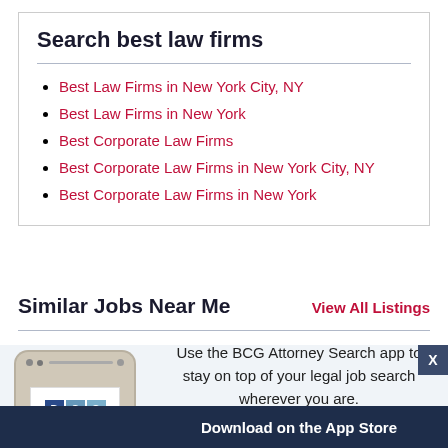Search best law firms
Best Law Firms in New York City, NY
Best Law Firms in New York
Best Corporate Law Firms
Best Corporate Law Firms in New York City, NY
Best Corporate Law Firms in New York
Similar Jobs Near Me
View All Listings
[Figure (infographic): BCG Attorney Search mobile app advertisement showing a smartphone with BCG logo and text: Use the BCG Attorney Search app to stay on top of your legal job search wherever you are. Download on the App Store.]